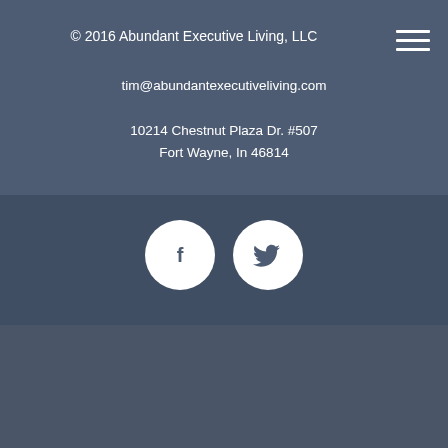© 2016 Abundant Executive Living, LLC
tim@abundantexecutiveliving.com
10214 Chestnut Plaza Dr. #507
Fort Wayne, In 46814
[Figure (illustration): Hamburger menu icon with three horizontal white lines in top-right corner]
[Figure (illustration): Social media icons: Facebook (f) and Twitter (bird) as white circles with dark icons on a darker background band]